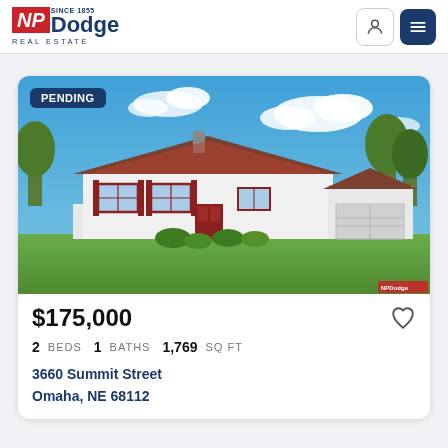[Figure (logo): NP Dodge Real Estate logo — red NP block with blue Dodge text, 'Since 1855' above, 'Real Estate' below]
[Figure (photo): Exterior photo of a single-story ranch-style house with white siding, red/brown trim and shutters, attached garage, green lawn, blue sky with clouds. PENDING badge in top-left corner.]
PENDING
$175,000
2 BEDS  1 BATHS  1,769 SQ FT
3660 Summit Street
Omaha, NE 68112